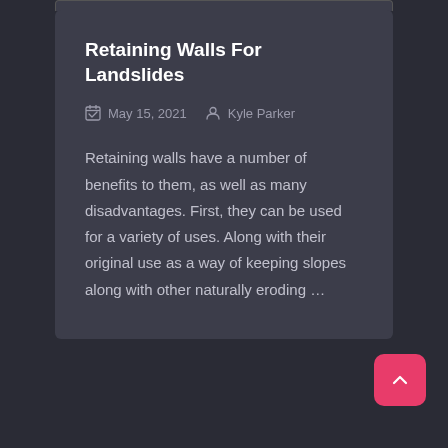Retaining Walls For Landslides
May 15, 2021   Kyle Parker
Retaining walls have a number of benefits to them, as well as many disadvantages. First, they can be used for a variety of uses. Along with their original use as a way of keeping slopes along with other naturally eroding …